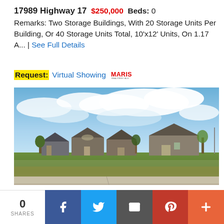17989 Highway 17  $250,000  Beds: 0
Remarks: Two Storage Buildings, With 20 Storage Units Per Building, Or 40 Storage Units Total, 10'x12' Units, On 1.17 A... | See Full Details
Request: Virtual Showing [MARIS MLS logo]
[Figure (photo): Outdoor photograph of a grassy vacant lot/field with residential houses and buildings visible in the background under a partly cloudy blue sky. A concrete sidewalk or curb is visible in the foreground.]
0 SHARES | Facebook | Twitter | Email | Pinterest | More